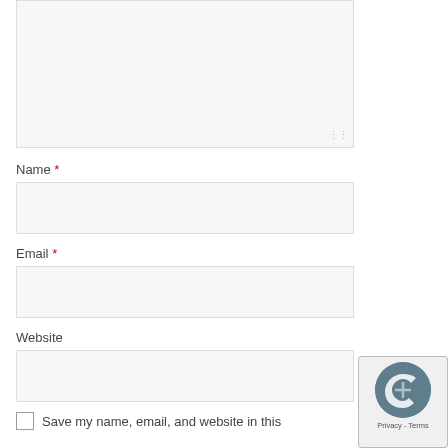[Figure (screenshot): Comment textarea input box (top portion visible), partially cropped at top]
Name *
[Figure (screenshot): Name text input field box]
Email *
[Figure (screenshot): Email text input field box]
Website
[Figure (screenshot): Website text input field box]
[Figure (screenshot): reCAPTCHA badge with Privacy and Terms links]
Save my name, email, and website in this